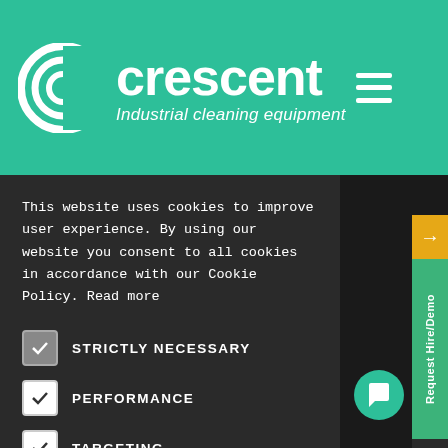[Figure (logo): Crescent Industrial Cleaning Equipment logo with teal background, white 'C' swirl icon and company name]
This website uses cookies to improve user experience. By using our website you consent to all cookies in accordance with our Cookie Policy. Read more
STRICTLY NECESSARY
PERFORMANCE
TARGETING
UNCLASSIFIED
ACCEPT ALL
DECLINE ALL
SHOW DETAILS